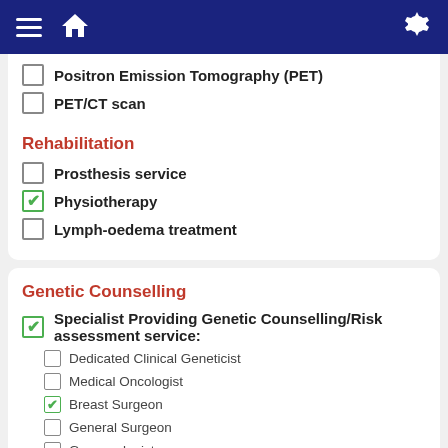Navigation bar with menu, home, and settings icons
☐ Positron Emission Tomography (PET)
☐ PET/CT scan
Rehabilitation
☐ Prosthesis service
☑ Physiotherapy
☐ Lymph-oedema treatment
Genetic Counselling
☑ Specialist Providing Genetic Counselling/Risk assessment service:
☐ Dedicated Clinical Geneticist
☐ Medical Oncologist
☑ Breast Surgeon
☐ General Surgeon
☐ Gynaecologist
☐ Genetic Testing available
☐ Surveillance program for high-risk women
Data Management